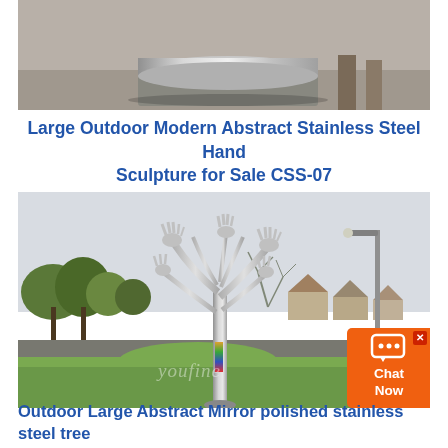[Figure (photo): Close-up photo of a stainless steel cylindrical sculpture base/bottom portion with metallic sheen, placed on a flat surface]
Large Outdoor Modern Abstract Stainless Steel Hand Sculpture for Sale CSS-07
[Figure (photo): Outdoor photo of a large stainless steel abstract tree sculpture with hand-shaped branches, installed on a traffic roundabout with grass, trees, houses, and a street lamp in the background. Watermark reads 'youfine']
Outdoor Large Abstract Mirror polished stainless steel tree